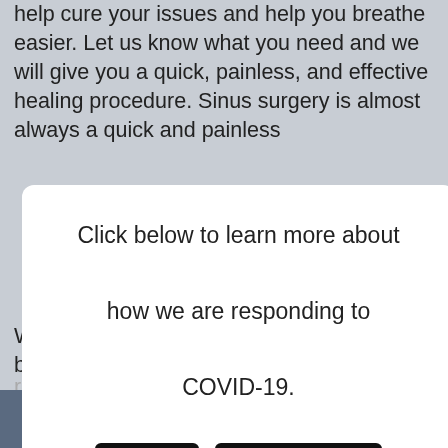help cure your issues and help you breathe easier. Let us know what you need and we will give you a quick, painless, and effective healing procedure. Sinus surgery is almost always a quick and painless ... or ... n the ... m any
[Figure (screenshot): Modal dialog overlay on a medical website about sinus surgery and COVID-19 response. Contains text 'Click below to learn more about how we are responding to COVID-19.' with two buttons: VIEW and NO THANKS.]
When it comes to you receiving the very best sinus
TEXT US    CALL US